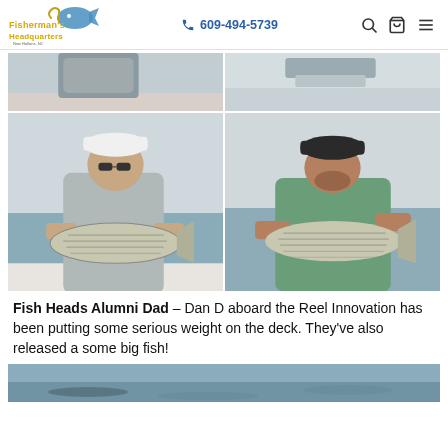Fisherman's Headquarters | 609-494-5739
[Figure (photo): Top row: two partial fishing photos showing people holding fish on a boat, cropped at top — left shows person in gray shirt, right shows hands holding fish]
[Figure (photo): Bottom row left: man in white cap and sunglasses smiling, holding a striped bass on a boat with ocean in background]
[Figure (photo): Bottom row right: man in green long-sleeve shirt smiling, holding a striped bass with ocean in background]
Fish Heads Alumni Dad – Dan D aboard the Reel Innovation has been putting some serious weight on the deck. They've also released a some big fish!
[Figure (photo): Partial bottom photo showing ocean/water scene, cropped at page bottom]